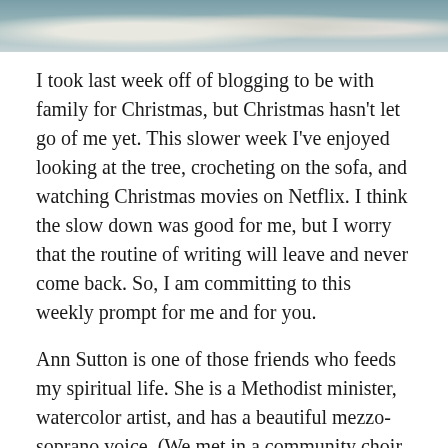[Figure (photo): Partial photo at top of page showing what appears to be birds or swans, cropped to a strip]
I took last week off of blogging to be with family for Christmas, but Christmas hasn't let go of me yet. This slower week I've enjoyed looking at the tree, crocheting on the sofa, and watching Christmas movies on Netflix. I think the slow down was good for me, but I worry that the routine of writing will leave and never come back. So, I am committing to this weekly prompt for me and for you.
Ann Sutton is one of those friends who feeds my spiritual life. She is a Methodist minister, watercolor artist, and has a beautiful mezzo-soprano voice. (We met in a community choir years ago.) Christmas worship looked different this year. In her wisdom, Ann didn't forego the candle lighting on Christmas Eve. She reinvented it. With a variety of candles in buckets of sand, families lit their own candle as